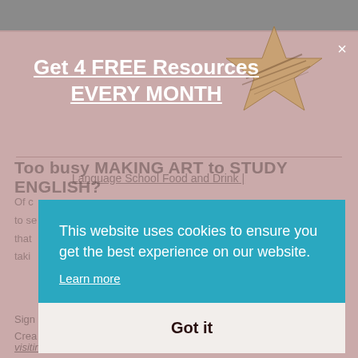Get 4 FREE Resources EVERY MONTH
Too busy MAKING ART to STUDY ENGLISH?
Of c[ourse not! We know you love English and you want] to se[e more resources like this. We have resources] that [are perfect for art lovers, so why not consider] taki[ng our course?]
Language School Food and Drink |
Sign [...]
Crea[tive...]
visiting Perth in Scotland. Find more
This website uses cookies to ensure you get the best experience on our website.
Learn more
Got it